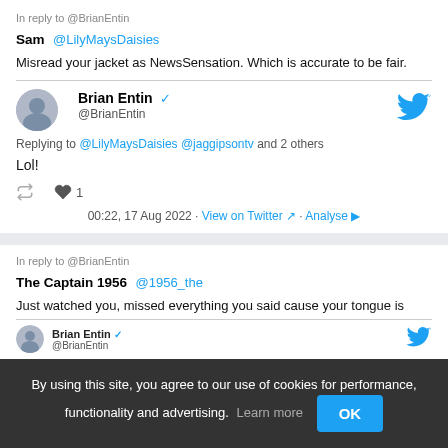In reply to @BrianEntin
Sam @LilyMaysDaisies
Misread your jacket as NewsSensation. Which is accurate to be fair.
Brian Entin @BrianEntin
Replying to @LilyMaysDaisies @jaggipsontv and 2 others
Lol!
1
00:22, 17 Aug 2022 · View on Twitter · Analyse
In reply to @BrianEntin
The Captain 1956 @1956_the
Just watched you, missed everything you said cause your tongue is
Brian Entin @BrianEntin
By using this site, you agree to our use of cookies for performance, functionality and advertising. Learn more OK